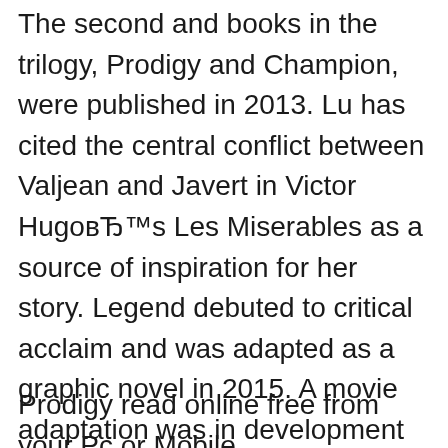The second and books in the trilogy, Prodigy and Champion, were published in 2013. Lu has cited the central conflict between Valjean and Javert in Victor Hugo's Les Miserables as a source of inspiration for her story. Legend debuted to critical acclaim and was adapted as a graphic novel in 2015. A movie adaptation was in development as of 2011. The latest Tweets from Marie Lu (@Marie_Lu). I write books! Next up: Rebel: A Legend Novel (Oct. 1, 2019), The Kingdom of Back (Spring 2020), Skyhunter (Fall 2020). Messing with your OTPs since 2011. Santa Monica, CA
Prodigy read online free from your Pc or Mobile...